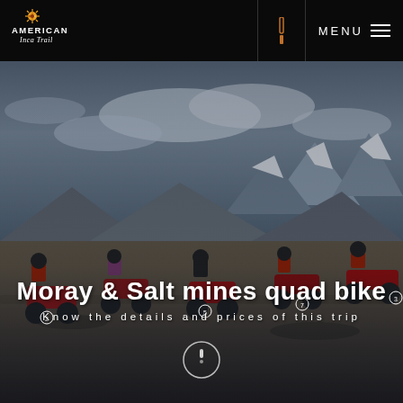[Figure (logo): American Inca Trail logo with sun/compass star icon above text]
MENU
[Figure (photo): Group of riders on red quad bikes/ATVs on a rocky highland landscape with snow-capped mountains and dramatic cloudy sky in background]
Moray & Salt mines quad bike
Know the details and prices of this trip